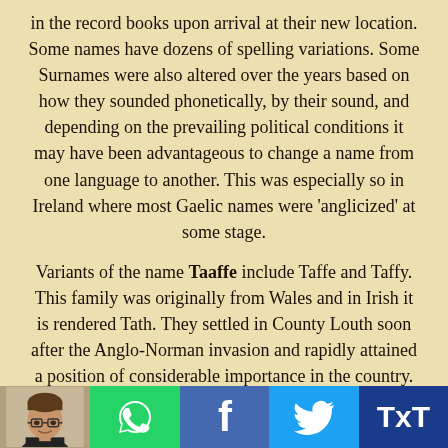in the record books upon arrival at their new location. Some names have dozens of spelling variations. Some Surnames were also altered over the years based on how they sounded phonetically, by their sound, and depending on the prevailing political conditions it may have been advantageous to change a name from one language to another. This was especially so in Ireland where most Gaelic names were 'anglicized' at some stage.

Variants of the name Taaffe include Taffe and Taffy. This family was originally from Wales and in Irish it is rendered Tath. They settled in County Louth soon after the Anglo-Norman invasion and rapidly attained a position of considerable importance in the country. Though they never became numerous like the other Norman families they continued to be one
[Figure (photo): Footer bar with profile photo of a man, WhatsApp green icon, Facebook blue icon, Twitter blue bird icon, and TxT dark blue button]